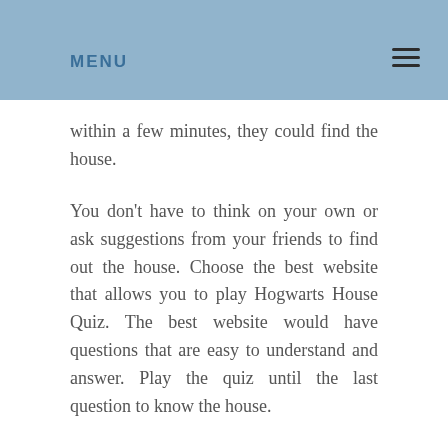MENU
within a few minutes, they could find the house.
You don't have to think on your own or ask suggestions from your friends to find out the house. Choose the best website that allows you to play Hogwarts House Quiz. The best website would have questions that are easy to understand and answer. Play the quiz until the last question to know the house.